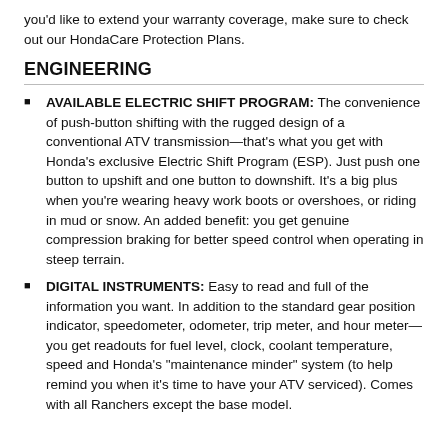you'd like to extend your warranty coverage, make sure to check out our HondaCare Protection Plans.
ENGINEERING
AVAILABLE ELECTRIC SHIFT PROGRAM: The convenience of push-button shifting with the rugged design of a conventional ATV transmission—that's what you get with Honda's exclusive Electric Shift Program (ESP). Just push one button to upshift and one button to downshift. It's a big plus when you're wearing heavy work boots or overshoes, or riding in mud or snow. An added benefit: you get genuine compression braking for better speed control when operating in steep terrain.
DIGITAL INSTRUMENTS: Easy to read and full of the information you want. In addition to the standard gear position indicator, speedometer, odometer, trip meter, and hour meter—you get readouts for fuel level, clock, coolant temperature, speed and Honda's "maintenance minder" system (to help remind you when it's time to have your ATV serviced). Comes with all Ranchers except the base model.